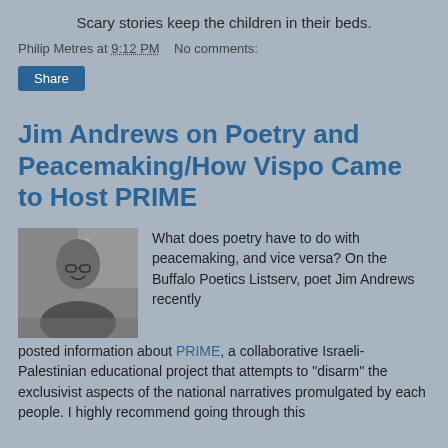Scary stories keep the children in their beds.
Philip Metres at 9:12 PM    No comments:
Jim Andrews on Poetry and Peacemaking/How Vispo Came to Host PRIME
[Figure (photo): Black and white photo of a bald man with glasses sitting at a desk, smiling]
What does poetry have to do with peacemaking, and vice versa? On the Buffalo Poetics Listserv, poet Jim Andrews recently posted information about PRIME, a collaborative Israeli-Palestinian educational project that attempts to "disarm" the exclusivist aspects of the national narratives promulgated by each people. I highly recommend going through this